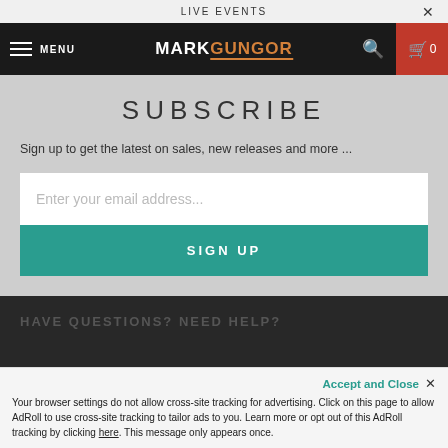LIVE EVENTS
[Figure (screenshot): Website navigation bar with hamburger menu, MARKGUNGOR logo, search icon, and cart with 0 items]
SUBSCRIBE
Sign up to get the latest on sales, new releases and more ...
Enter your email address...
SIGN UP
HAVE QUESTIONS? NEED HELP?
Accept and Close ✕
Your browser settings do not allow cross-site tracking for advertising. Click on this page to allow AdRoll to use cross-site tracking to tailor ads to you. Learn more or opt out of this AdRoll tracking by clicking here. This message only appears once.